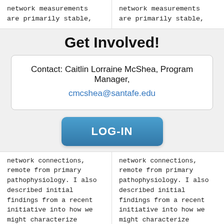network measurements are primarily stable,
network measurements are primarily stable,
Get Involved!
Contact: Caitlin Lorraine McShea, Program Manager,
cmcshea@santafe.edu
LOG-IN
network connections, remote from primary pathophysiology. I also described initial findings from a recent initiative into how we might characterize individual variation in brain networks, showing
network connections, remote from primary pathophysiology. I also described initial findings from a recent initiative into how we might characterize individual variation in brain networks, showing